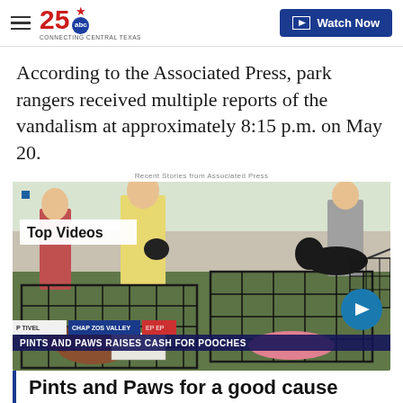25 ABC – Connecting Central Texas | Watch Now
According to the Associated Press, park rangers received multiple reports of the vandalism at approximately 8:15 p.m. on May 20.
Recent Stories from Associated Press
[Figure (screenshot): Video thumbnail showing dog cages at an outdoor event with a 'Top Videos' overlay label, lower-thirds bar reading 'PINTS AND PAWS RAISES CASH FOR POOCHES', and a circular arrow navigation button.]
Pints and Paws for a good cause